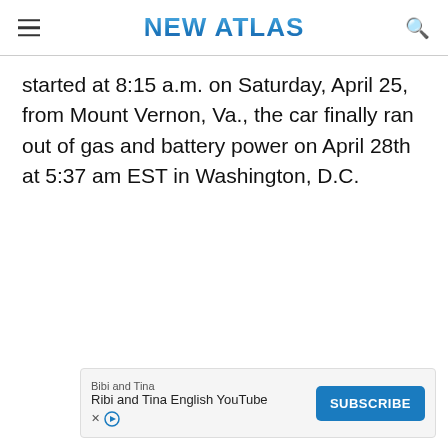NEW ATLAS
started at 8:15 a.m. on Saturday, April 25, from Mount Vernon, Va., the car finally ran out of gas and battery power on April 28th at 5:37 am EST in Washington, D.C.
[Figure (other): Advertisement banner for Bibi and Tina English YouTube channel with a Subscribe button]